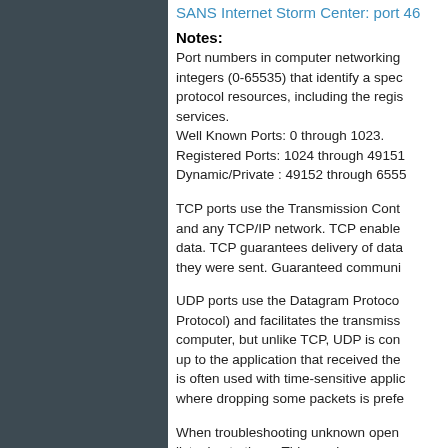SANS Internet Storm Center: port 46
Notes:
Port numbers in computer networking are integers (0-65535) that identify a specific protocol resources, including the registered services.
Well Known Ports: 0 through 1023.
Registered Ports: 1024 through 49151.
Dynamic/Private : 49152 through 65535.
TCP ports use the Transmission Control Protocol and any TCP/IP network. TCP enables data. TCP guarantees delivery of data and they were sent. Guaranteed communication.
UDP ports use the Datagram Protocol (User Datagram Protocol) and facilitates the transmission between computer, but unlike TCP, UDP is connectionless. up to the application that received the data. UDP is often used with time-sensitive applications where dropping some packets is preferred.
When troubleshooting unknown open ports, listening to them. This can be accomplished using the lsstat tool or netstat...